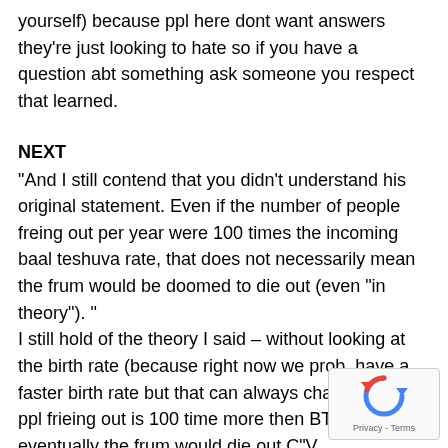yourself) because ppl here dont want answers they're just looking to hate so if you have a question abt something ask someone you respect that learned.
NEXT
“And I still contend that you didn’t understand his original statement. Even if the number of people freing out per year were 100 times the incoming baal teshuva rate, that does not necessarily mean the frum would be doomed to die out (even “in theory”). ”
I still hold of the theory I said – without looking at the birth rate (because right now we prob. have a faster birth rate but that can always change and) if ppl frieing out is 100 time more then BT then eventually the frum would die out C”V
NEXT
As I said you found a few things that a few chabad ppl
[Figure (other): reCAPTCHA widget with circular arrow icon and Privacy - Terms text]